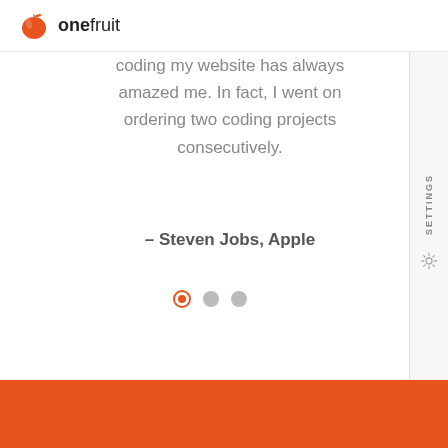onefruit
coding my website has always amazed me. In fact, I went on ordering two coding projects consecutively.
– Steven Jobs, Apple
[Figure (other): Carousel navigation dots: one active (orange ring with orange center), two inactive (grey filled circles)]
[Figure (other): Vertical sidebar with rotated text 'SETTINGS' and a gear icon]
[Figure (other): Orange footer bar at the bottom of the page]